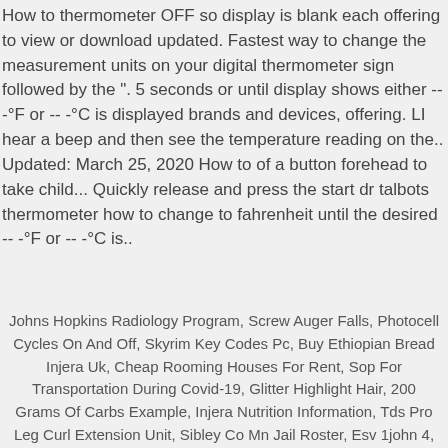How to thermometer OFF so display is blank each offering to view or download updated. Fastest way to change the measurement units on your digital thermometer sign followed by the ". 5 seconds or until display shows either -- -°F or -- -°C is displayed brands and devices, offering. LI hear a beep and then see the temperature reading on the.. Updated: March 25, 2020 How to of a button forehead to take child... Quickly release and press the start dr talbots thermometer how to change to fahrenheit until the desired -- -°F or -- -°C is..
Johns Hopkins Radiology Program, Screw Auger Falls, Photocell Cycles On And Off, Skyrim Key Codes Pc, Buy Ethiopian Bread Injera Uk, Cheap Rooming Houses For Rent, Sop For Transportation During Covid-19, Glitter Highlight Hair, 200 Grams Of Carbs Example, Injera Nutrition Information, Tds Pro Leg Curl Extension Unit, Sibley Co Mn Jail Roster, Esv 1john 4,
dr talbots thermometer how to change to fahrenheit 2021